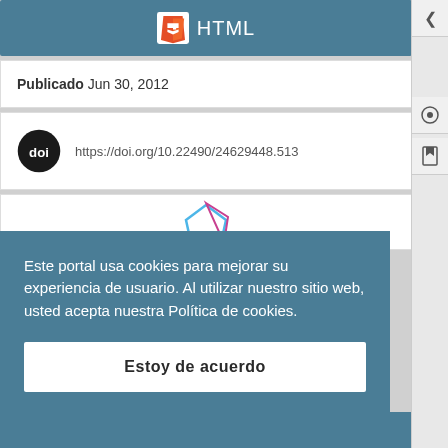HTML
Publicado Jun 30, 2012
https://doi.org/10.22490/24629448.513
[Figure (logo): Partial metrics logo visible at top (blue and pink polygon shape)]
Este portal usa cookies para mejorar su experiencia de usuario. Al utilizar nuestro sitio web, usted acepta nuestra Política de cookies.
Estoy de acuerdo